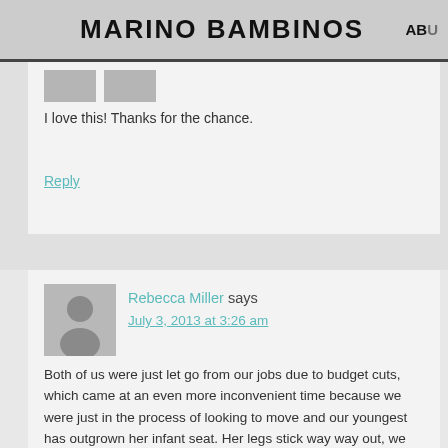MARINO BAMBINOS  AB...
I love this! Thanks for the chance.
Reply
Rebecca Miller says
July 3, 2013 at 3:26 am
Both of us were just let go from our jobs due to budget cuts, which came at an even more inconvenient time because we were just in the process of looking to move and our youngest has outgrown her infant seat. Her legs stick way way out, we are hoping to be able to get her a big girl seat soon. This would be an amazing gift to our family and help.Crossing fingers and toes thanks for this opportunity. Good luck to everybody.